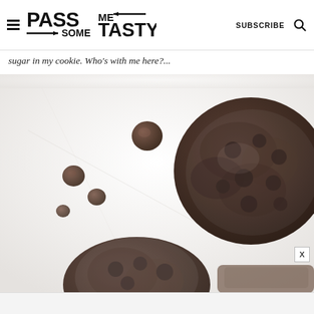PASS ME SOME TASTY | SUBSCRIBE
sugar in my cookie. Who's with me here?...
[Figure (photo): Overhead view of dark chocolate chip cookies with scattered chocolate chips on a white surface. One large dark crinkle cookie visible in the upper right, and a partial cookie at the bottom left. Scattered chocolate chips visible on the left side.]